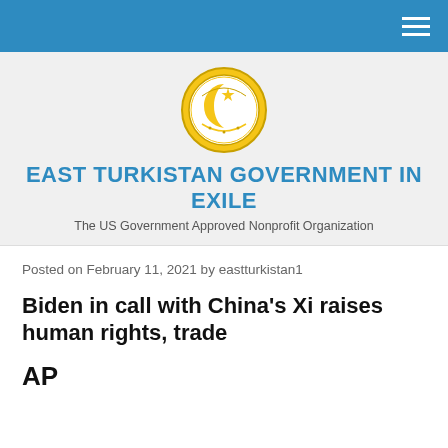[Figure (logo): East Turkistan Government in Exile circular seal/logo with crescent moon and script on gold border]
EAST TURKISTAN GOVERNMENT IN EXILE
The US Government Approved Nonprofit Organization
Posted on February 11, 2021 by eastturkistan1
Biden in call with China's Xi raises human rights, trade
AP